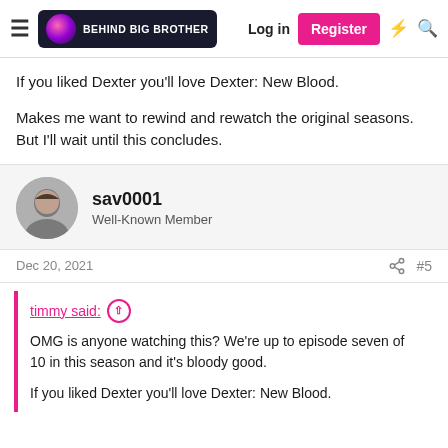Behind Big Brother — Log in | Register
If you liked Dexter you'll love Dexter: New Blood.
Makes me want to rewind and rewatch the original seasons. But I'll wait until this concludes.
sav0001 — Well-Known Member
Dec 20, 2021  #5
timmy said: OMG is anyone watching this? We're up to episode seven of 10 in this season and it's bloody good. If you liked Dexter you'll love Dexter: New Blood.